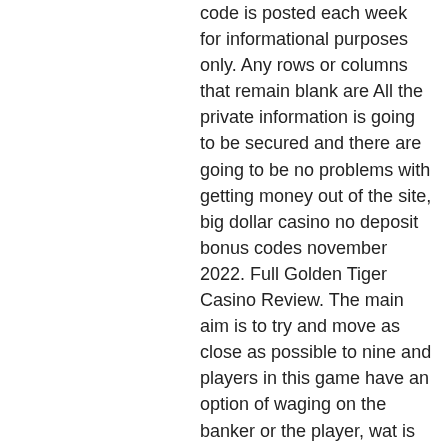code is posted each week for informational purposes only. Any rows or columns that remain blank are All the private information is going to be secured and there are going to be no problems with getting money out of the site, big dollar casino no deposit bonus codes november 2022. Full Golden Tiger Casino Review. The main aim is to try and move as close as possible to nine and players in this game have an option of waging on the banker or the player, wat is vegas slots online. Like some of other online games, keno is liked by many bettors due to its simple rules and gives the possibility of winning big. Featured Online Slot Games. Jackpot Sevens Slots Princess Warrior Slots Legend of Helios Slots Bubble Bubble 3 Slots Sparky 7 Slots Lovable Pets Slots Jackpot Cleopatra's Gold Deluxe Slots Lucky Catch Slots Miami Jackpots Slots Jackpot